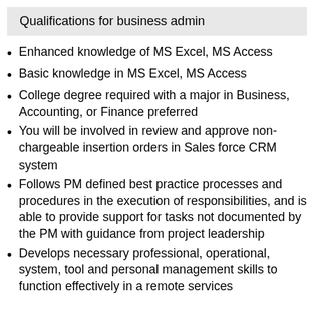Qualifications for business admin
Enhanced knowledge of MS Excel, MS Access
Basic knowledge in MS Excel, MS Access
College degree required with a major in Business, Accounting, or Finance preferred
You will be involved in review and approve non-chargeable insertion orders in Sales force CRM system
Follows PM defined best practice processes and procedures in the execution of responsibilities, and is able to provide support for tasks not documented by the PM with guidance from project leadership
Develops necessary professional, operational, system, tool and personal management skills to function effectively in a remote services